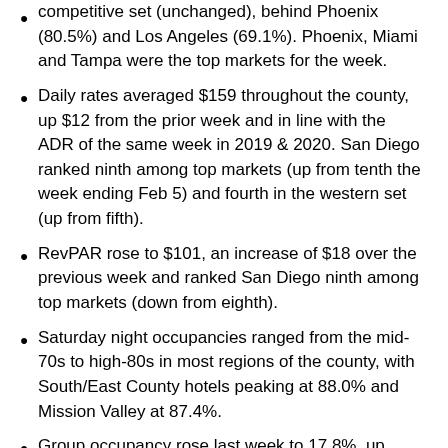competitive set (unchanged), behind Phoenix (80.5%) and Los Angeles (69.1%). Phoenix, Miami and Tampa were the top markets for the week.
Daily rates averaged $159 throughout the county, up $12 from the prior week and in line with the ADR of the same week in 2019 & 2020. San Diego ranked ninth among top markets (up from tenth the week ending Feb 5) and fourth in the western set (up from fifth).
RevPAR rose to $101, an increase of $18 over the previous week and ranked San Diego ninth among top markets (down from eighth).
Saturday night occupancies ranged from the mid-70s to high-80s in most regions of the county, with South/East County hotels peaking at 88.0% and Mission Valley at 87.4%.
Group occupancy rose last week to 17.8%, up from 13.3% the week prior, with an ADR of